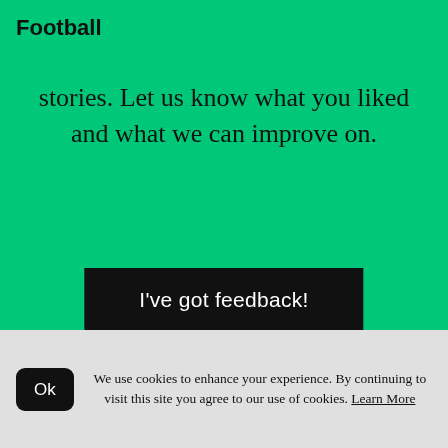Football
stories. Let us know what you liked and what we can improve on.
I've got feedback!
[Figure (other): Social share icons: Facebook, Twitter, WhatsApp, Email]
We use cookies to enhance your experience. By continuing to visit this site you agree to our use of cookies. Learn More